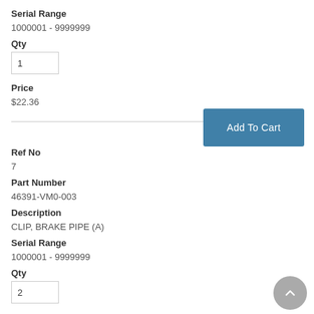Serial Range
1000001 - 9999999
Qty
1
Price
$22.36
Add To Cart
Ref No
7
Part Number
46391-VM0-003
Description
CLIP, BRAKE PIPE (A)
Serial Range
1000001 - 9999999
Qty
2
Price
$2.54